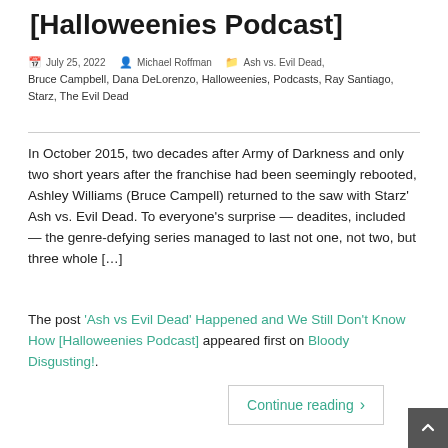'Ash vs Evil Dead' Happened and We Still Don't Know How [Halloweenies Podcast]
July 25, 2022   Michael Roffman   Ash vs. Evil Dead, Bruce Campbell, Dana DeLorenzo, Halloweenies, Podcasts, Ray Santiago, Starz, The Evil Dead
In October 2015, two decades after Army of Darkness and only two short years after the franchise had been seemingly rebooted, Ashley Williams (Bruce Campell) returned to the saw with Starz' Ash vs. Evil Dead. To everyone's surprise — deadites, included — the genre-defying series managed to last not one, not two, but three whole […]
The post 'Ash vs Evil Dead' Happened and We Still Don't Know How [Halloweenies Podcast] appeared first on Bloody Disgusting!.